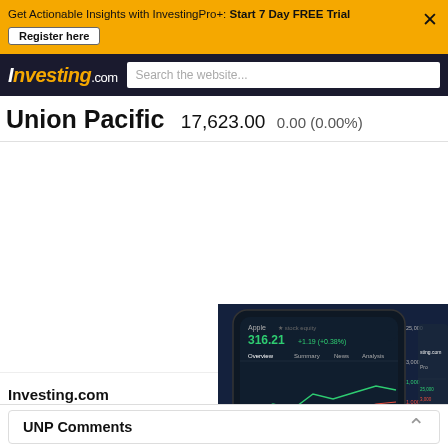Get Actionable Insights with InvestingPro+: Start 7 Day FREE Trial  Register here
Investing.com  Search the website...
Union Pacific  17,623.00  0.00 (0.00%)
[Figure (screenshot): Empty white chart area for Union Pacific stock price chart]
[Figure (screenshot): Investing.com mobile app screenshot showing stock price chart on a smartphone]
Investing.com
Blog
Mobile
UNP Comments